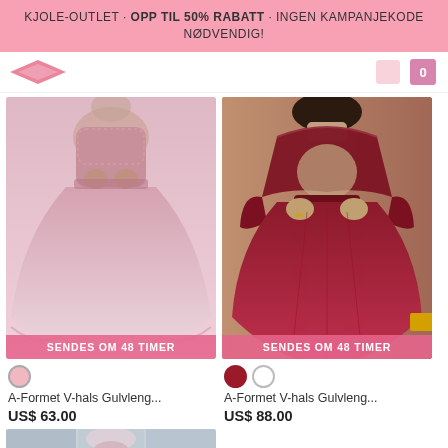KJOLE-OUTLET · OPP TIL 50% RABATT · INGEN KAMPANJEKODE NØDVENDIG!
[Figure (photo): Pink floor-length A-line chiffon gown with label SENDES OM 48 TIMER]
[Figure (photo): Dark red/burgundy long-sleeve lace A-line gown with label SENDES OM 48 TIMER]
A-Formet V-hals Gulvleng...
US$ 63.00
A-Formet V-hals Gulvleng...
US$ 88.00
[Figure (photo): Partial bottom image of a model in a formal dress, cropped at page bottom]